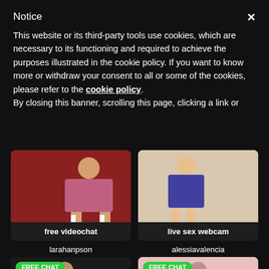Notice
This website or its third-party tools use cookies, which are necessary to its functioning and required to achieve the purposes illustrated in the cookie policy. If you want to know more or withdraw your consent to all or some of the cookies, please refer to the cookie policy.
By closing this banner, scrolling this page, clicking a link or
[Figure (photo): Two adult content thumbnail images side by side showing webcam models, with labels 'free videochat' and 'live sex webcam'. Below are two more thumbnails labeled 'larahanpson' and 'alessiavalencia' with 'FREE CHAT' badges.]